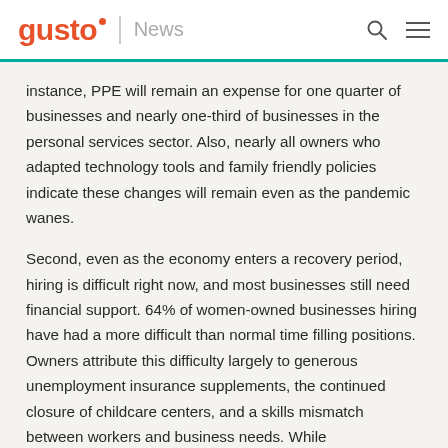gusto | News
instance, PPE will remain an expense for one quarter of businesses and nearly one-third of businesses in the personal services sector. Also, nearly all owners who adapted technology tools and family friendly policies indicate these changes will remain even as the pandemic wanes.
Second, even as the economy enters a recovery period, hiring is difficult right now, and most businesses still need financial support. 64% of women-owned businesses hiring have had a more difficult than normal time filling positions. Owners attribute this difficulty largely to generous unemployment insurance supplements, the continued closure of childcare centers, and a skills mismatch between workers and business needs. While